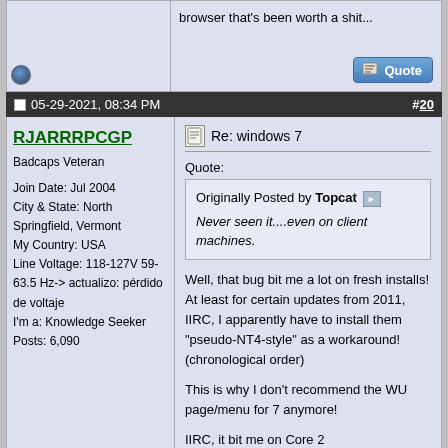browser that's been worth a shit...
05-29-2021, 08:34 PM
#20
RJARRRPCGP
Badcaps Veteran
Join Date: Jul 2004
City & State: North Springfield, Vermont
My Country: USA
Line Voltage: 118-127V 59-63.5 Hz-> actualizo: pérdido de voltaje
I'm a: Knowledge Seeker
Posts: 6,090
Re: windows 7
Quote:
Originally Posted by Topcat
Never seen it....even on client machines.
Well, that bug bit me a lot on fresh installs! At least for certain updates from 2011, IIRC, I apparently have to install them "pseudo-NT4-style" as a workaround! (chronological order)

This is why I don't recommend the WU page/menu for 7 anymore!

IIRC, it bit me on Core 2